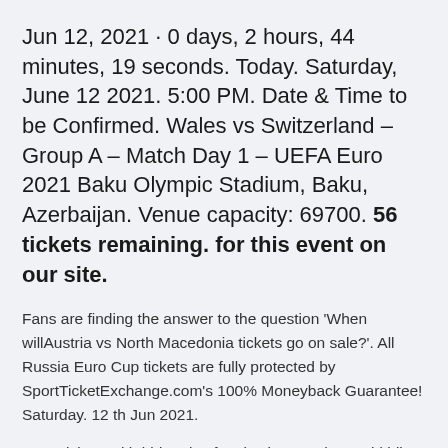Jun 12, 2021 · 0 days, 2 hours, 44 minutes, 19 seconds. Today. Saturday, June 12 2021. 5:00 PM. Date & Time to be Confirmed. Wales vs Switzerland – Group A – Match Day 1 – UEFA Euro 2021 Baku Olympic Stadium, Baku, Azerbaijan. Venue capacity: 69700. 56 tickets remaining. for this event on our site.
Fans are finding the answer to the question 'When willAustria vs North Macedonia tickets go on sale?'. All Russia Euro Cup tickets are fully protected by SportTicketExchange.com's 100% Moneyback Guarantee! Saturday. 12 th Jun 2021.
Buy tickets with bid to rise for six players who could bli...